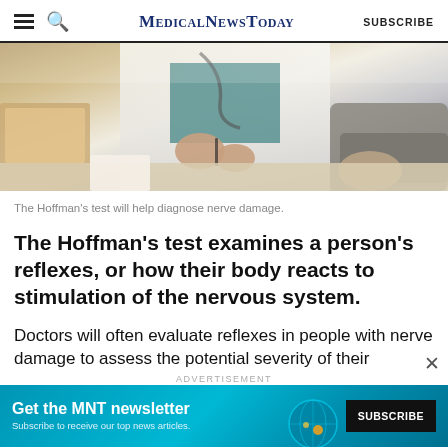MedicalNewsToday | SUBSCRIBE
[Figure (photo): A doctor in a white coat with a stethoscope gesturing with hands across a desk toward a patient, with a laptop in the background.]
The Hoffman's test will help diagnose nerve damage.
The Hoffman’s test examines a person’s reflexes, or how their body reacts to stimulation of the nervous system.
Doctors will often evaluate reflexes in people with nerve damage to assess the potential severity of their
[Figure (other): Advertisement banner: Get the MNT newsletter. Subscribe to receive our top news articles. SUBSCRIBE button.]